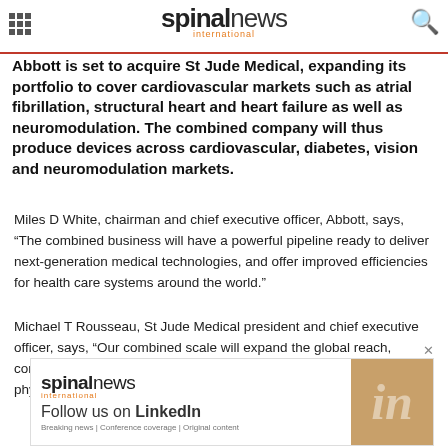spinal news international
Abbott is set to acquire St Jude Medical, expanding its portfolio to cover cardiovascular markets such as atrial fibrillation, structural heart and heart failure as well as neuromodulation. The combined company will thus produce devices across cardiovascular, diabetes, vision and neuromodulation markets.
Miles D White, chairman and chief executive officer, Abbott, says, “The combined business will have a powerful pipeline ready to deliver next-generation medical technologies, and offer improved efficiencies for health care systems around the world.”
Michael T Rousseau, St Jude Medical president and chief executive officer, says, “Our combined scale will expand the global reach, competitiveness and impact of our medical device innovation for physicians and hospitals.”
[Figure (other): Spinal News International LinkedIn promotional banner ad with logo, 'Follow us on LinkedIn' text, and LinkedIn 'in' icon on tan background. Breaking news | Conference coverage | Original content tagline.]